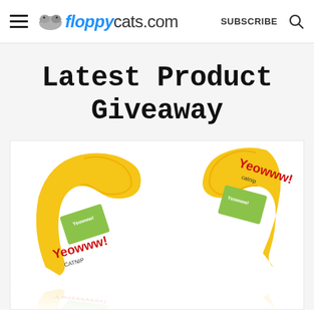floppycats.com  SUBSCRIBE
Latest Product Giveaway
[Figure (photo): Two yellow banana-shaped cat toys with 'Yeowww! Catnip' branding and green label sections, shown with their reflections below on a white background.]